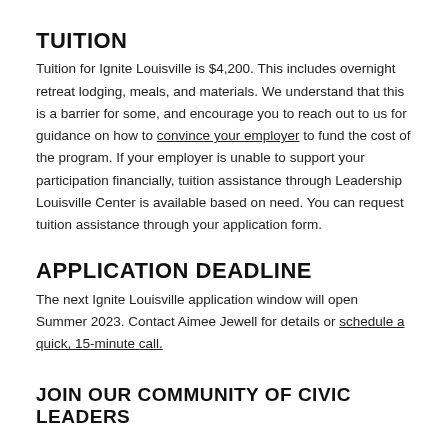TUITION
Tuition for Ignite Louisville is $4,200. This includes overnight retreat lodging, meals, and materials. We understand that this is a barrier for some, and encourage you to reach out to us for guidance on how to convince your employer to fund the cost of the program. If your employer is unable to support your participation financially, tuition assistance through Leadership Louisville Center is available based on need. You can request tuition assistance through your application form.
APPLICATION DEADLINE
The next Ignite Louisville application window will open Summer 2023. Contact Aimee Jewell for details or schedule a quick, 15-minute call.
JOIN OUR COMMUNITY OF CIVIC LEADERS